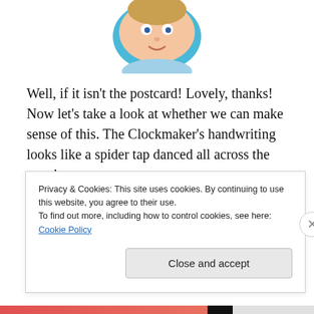[Figure (illustration): Cartoon character illustration (face/head) cropped at top, with blue circular frame/border, showing an animated person.]
Well, if it isn't the postcard! Lovely, thanks! Now let's take a look at whether we can make sense of this. The Clockmaker's handwriting looks like a spider tap danced all across the page!
Quest completed
Country Living
Privacy & Cookies: This site uses cookies. By continuing to use this website, you agree to their use.
To find out more, including how to control cookies, see here: Cookie Policy
Close and accept